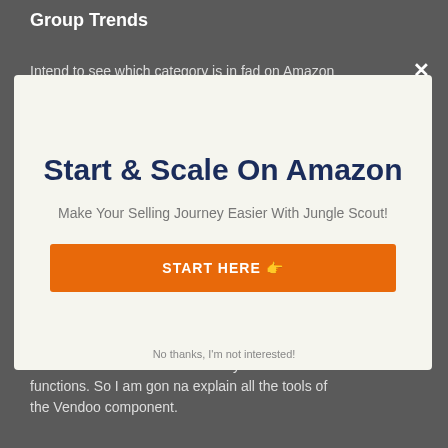Group Trends
Intend to see which category is in fad on Amazon
[Figure (screenshot): Modal popup overlay with title 'Start & Scale On Amazon', subtitle 'Make Your Selling Journey Easier With Jungle Scout!', and an orange CTA button labeled 'START HERE 👉']
No thanks, I'm not interested!
to know how the tools are actually functions. So I am gon na explain all the tools of the Vendoo component.